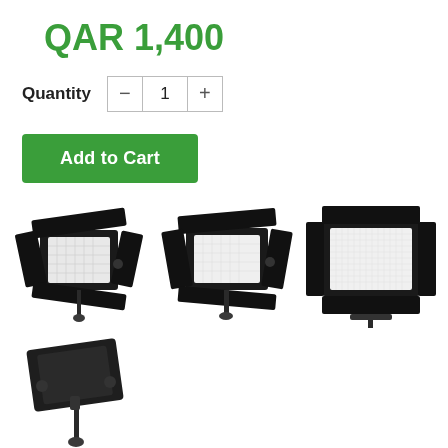QAR 1,400
Quantity  −  1  +
Add to Cart
[Figure (photo): LED panel studio light with barn doors, angled view, on a stand mount, three images in top row and one in bottom left]
[Figure (photo): LED panel studio light with barn doors, front-angled view]
[Figure (photo): LED panel studio light with barn doors, front view showing LED grid]
[Figure (photo): LED panel light back/battery view on stand mount]